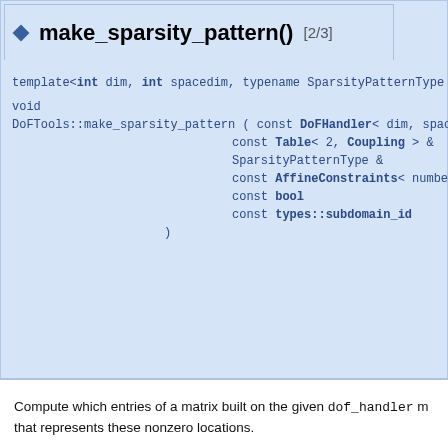make_sparsity_pattern() [2/3]
template<int dim, int spacedim, typename SparsityPatternType , typename number =
void
DoFTools::make_sparsity_pattern ( const DoFHandler< dim, spaced
    const Table< 2, Coupling > &
    SparsityPatternType &
    const AffineConstraints< numbe
    const bool
    const types::subdomain_id
)
Compute which entries of a matrix built on the given dof_handler m that represents these nonzero locations.
This function is a simple variation on the previous make_sparsity_pa common arguments), but it provides functionality for vector finite elem couple in which equation.